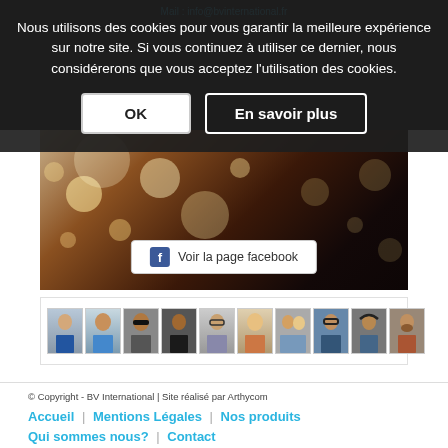Mail : info@bvinternational.fr
Nous utilisons des cookies pour vous garantir la meilleure expérience sur notre site. Si vous continuez à utiliser ce dernier, nous considérerons que vous acceptez l'utilisation des cookies.
[Figure (screenshot): Cookie consent dialog with OK and En savoir plus buttons over a dark background]
[Figure (photo): Bokeh background with sparkle lights and a Facebook page button overlay showing 'Voir la page facebook']
[Figure (photo): A horizontal strip of portrait thumbnails showing various people]
© Copyright - BV International | Site réalisé par Arthycom
Accueil | Mentions Légales | Nos produits | Qui sommes nous? | Contact